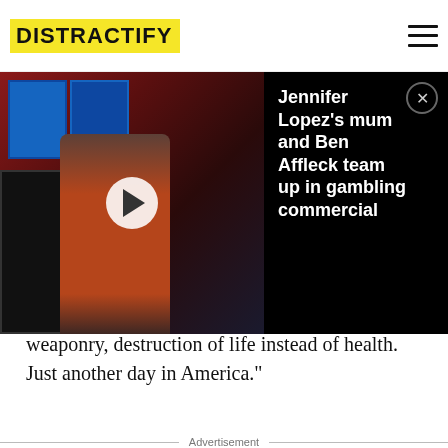DISTRACTIFY
[Figure (screenshot): Video thumbnail showing a casino scene with slot machines and a person in a red outfit. A white play button is overlaid in the center.]
Jennifer Lopez's mum and Ben Affleck team up in gambling commercial
weaponry, destruction of life instead of health. Just another day in America."
Advertisement